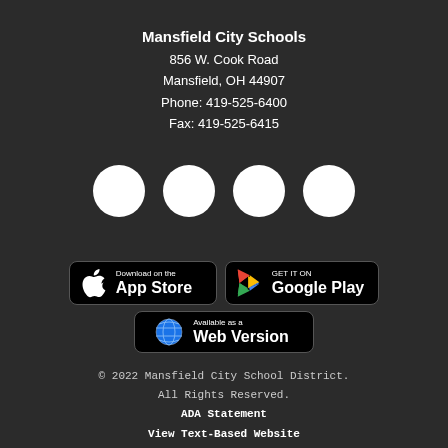Mansfield City Schools
856 W. Cook Road
Mansfield, OH 44907
Phone: 419-525-6400
Fax: 419-525-6415
[Figure (illustration): Four white social media icon circles in a row]
[Figure (illustration): Download on the App Store button]
[Figure (illustration): GET IT ON Google Play button]
[Figure (illustration): Available as a Web Version button]
© 2022 Mansfield City School District.
All Rights Reserved.
ADA Statement
View Text-Based Website
Website by eSchoolView